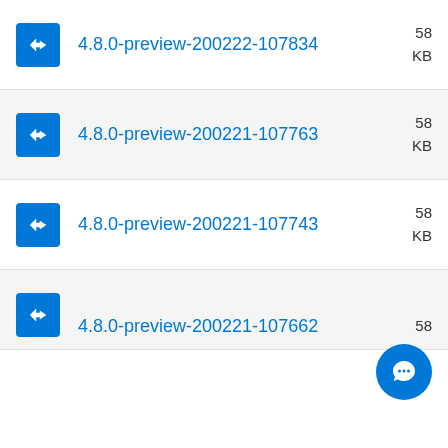4.8.0-preview-200222-107834  58 KB
4.8.0-preview-200221-107763  58 KB
4.8.0-preview-200221-107743  58 KB
4.8.0-preview-200221-107662  58